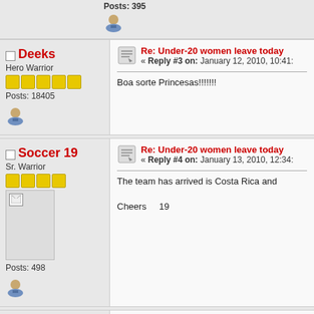Posts: 395
Deeks
Hero Warrior
Posts: 18405
Re: Under-20 women leave today
« Reply #3 on: January 12, 2010, 10:41:
Boa sorte Princesas!!!!!!!
Soccer 19
Sr. Warrior
Posts: 498
Re: Under-20 women leave today
« Reply #4 on: January 13, 2010, 12:34:
The team has arrived is Costa Rica and
Cheers    19
mwanasoka
Re: Under-20 women leave today